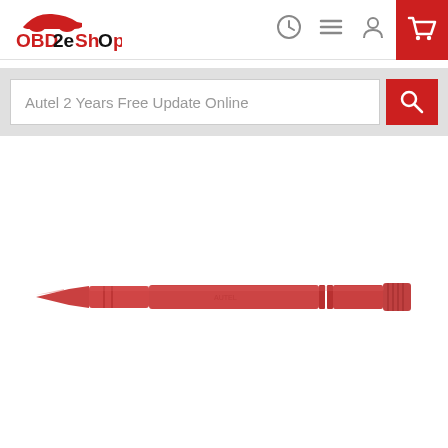OBD2eShOp
Autel 2 Years Free Update Online
[Figure (photo): Red plastic stylus pen, elongated with a pointed tip on the left and a ridged grip section on the right end, lying horizontally on a white background.]